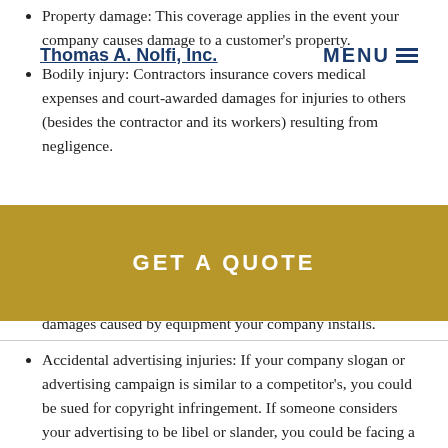Property damage: This coverage applies in the event your company causes damage to a customer's property.
Thomas A. Nolfi, Inc. MENU GET A QUOTE
Bodily injury: Contractors insurance covers medical expenses and court-awarded damages for injuries to others (besides the contractor and its workers) resulting from negligence.
Product claims: This insurance also covers claims related to damages caused by equipment your company installs.
Accidental advertising injuries: If your company slogan or advertising campaign is similar to a competitor's, you could be sued for copyright infringement. If someone considers your advertising to be libel or slander, you could be facing a lawsuit for defamation. Commercial general liability insurance